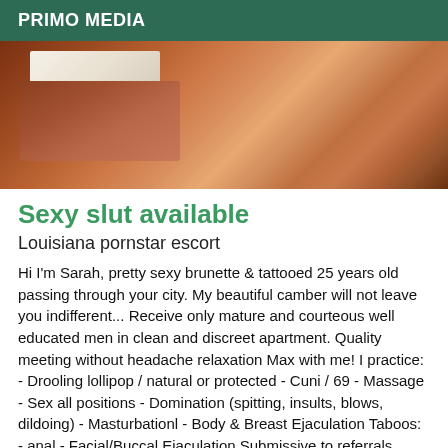PRIMO MEDIA
[Figure (photo): Close-up photo showing a person's body/torso area with warm skin tones, partially visible bedding in brown and white colors in the background.]
Sexy slut available
Louisiana pornstar escort
Hi I'm Sarah, pretty sexy brunette & tattooed 25 years old passing through your city. My beautiful camber will not leave you indifferent... Receive only mature and courteous well educated men in clean and discreet apartment. Quality meeting without headache relaxation Max with me! I practice: - Drooling lollipop / natural or protected - Cuni / 69 - Massage - Sex all positions - Domination (spitting, insults, blows, dildoing) - Masturbationl - Body & Breast Ejaculation Taboos: - anal - Facial/Buccal Ejaculation Submissive toeferrals...